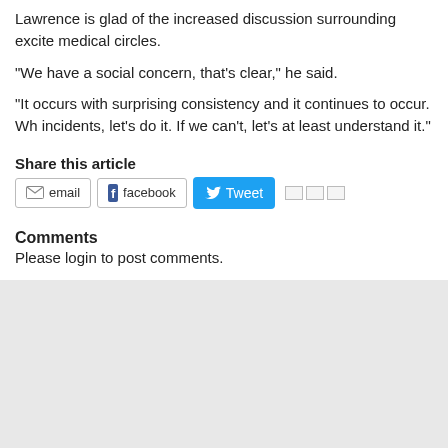Lawrence is glad of the increased discussion surrounding excite medical circles.
"We have a social concern, that's clear," he said.
"It occurs with surprising consistency and it continues to occur. Wh incidents, let's do it. If we can't, let's at least understand it."
Share this article
[Figure (screenshot): Share buttons: email, facebook, Tweet, and additional sharing options]
Comments
Please login to post comments.